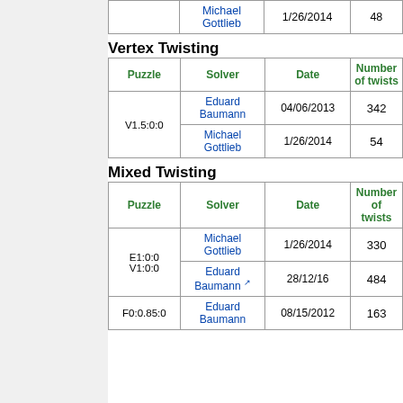| (partial) | Michael Gottlieb | 1/26/2014 | 48 |
| --- | --- | --- | --- |
Vertex Twisting
| Puzzle | Solver | Date | Number of twists |
| --- | --- | --- | --- |
| V1.5:0:0 | Eduard Baumann | 04/06/2013 | 342 |
| V1.5:0:0 | Michael Gottlieb | 1/26/2014 | 54 |
Mixed Twisting
| Puzzle | Solver | Date | Number of twists |
| --- | --- | --- | --- |
| E1:0:0 V1:0:0 | Michael Gottlieb | 1/26/2014 | 330 |
| E1:0:0 V1:0:0 | Eduard Baumann | 28/12/16 | 484 |
| F0:0.85:0 | Eduard Baumann | 08/15/2012 | 163 |